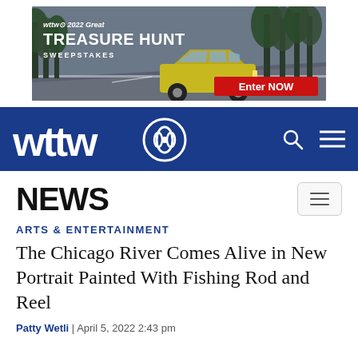[Figure (screenshot): WTTW 2022 Great Treasure Hunt Sweepstakes advertisement banner featuring a yellow Subaru crossover SUV on a winding road with trees, with red 'Enter NOW' button]
[Figure (logo): WTTW navigation bar with white 'wttw' wordmark, PBS eye logo circle, and search/hamburger icons on dark blue background]
NEWS
ARTS & ENTERTAINMENT
The Chicago River Comes Alive in New Portrait Painted With Fishing Rod and Reel
Patty Wetli | April 5, 2022 2:43 pm